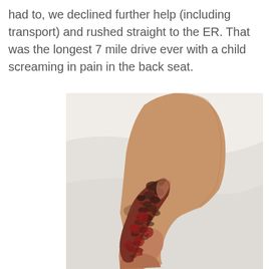had to, we declined further help (including transport) and rushed straight to the ER. That was the longest 7 mile drive ever with a child screaming in pain in the back seat.
[Figure (photo): A child's lower leg and foot resting on a white surface showing severe road rash/abrasion injury covering the heel, ankle, and lower calf area with lacerations, embedded debris, and bleeding wounds.]